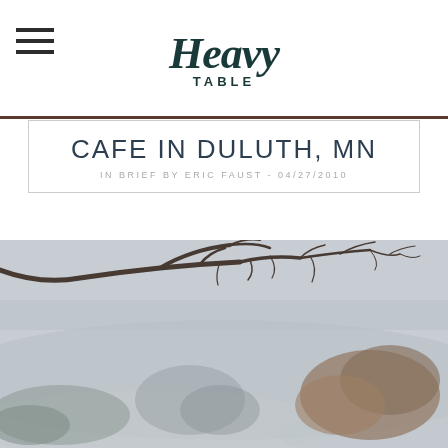Heavy Table
CAFE IN DULUTH, MN
IN BRIEF BY ERIC FAUST - 04/27/2010
[Figure (photo): Misty outdoor landscape with bare tree branches in the foreground and hazy trees and fields in the background, cool grey-blue tones.]